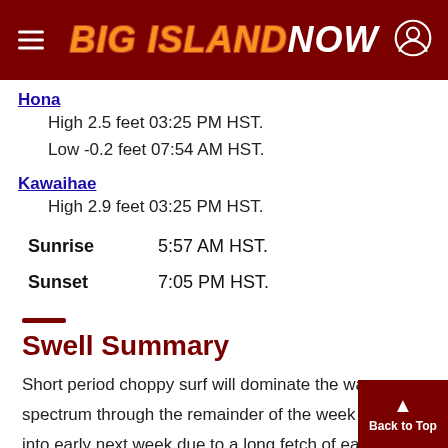BIG ISLAND NOW
Hona High 2.5 feet 03:25 PM HST.
Low -0.2 feet 07:54 AM HST.
Kawaihae High 2.9 feet 03:25 PM HST.
Sunrise 5:57 AM HST.
Sunset 7:05 PM HST.
Swell Summary
Short period choppy surf will dominate the wave spectrum through the remainder of the week and on into early next week due to a long fetch of easterly winds over and upwind of the state. A series of small southerly swells will keep surf on the small side throughout the forecast period. North facing sh